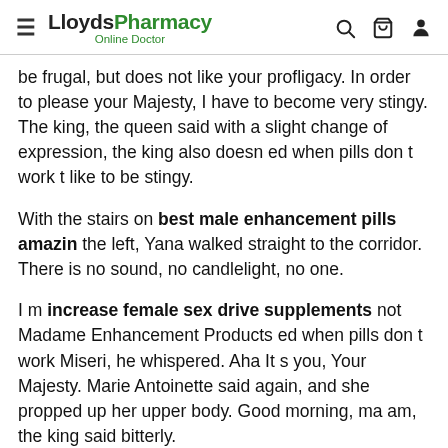LloydsPharmacy Online Doctor
be frugal, but does not like your profligacy. In order to please your Majesty, I have to become very stingy. The king, the queen said with a slight change of expression, the king also doesn ed when pills don t work t like to be stingy.
With the stairs on best male enhancement pills amazin the left, Yana walked straight to the corridor. There is no sound, no candlelight, no one.
I m increase female sex drive supplements not Madame Enhancement Products ed when pills don t work Miseri, he whispered. Aha It s you, Your Majesty. Marie Antoinette said again, and she propped up her upper body. Good morning, ma am, the king said bitterly.